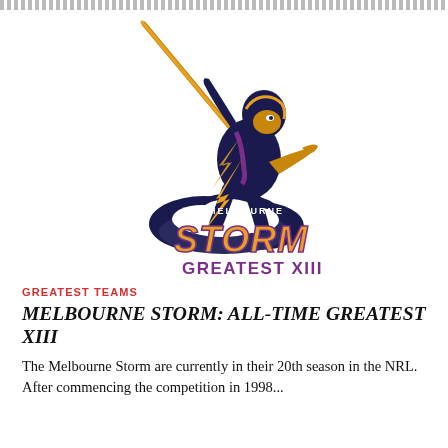[Figure (logo): Melbourne Storm Greatest XIII logo featuring a stylized player throwing a lightning bolt, standing on storm clouds, with the text MELBOURNE STORM GREATEST XIII in purple and gold.]
GREATEST TEAMS
MELBOURNE STORM: ALL-TIME GREATEST XIII
The Melbourne Storm are currently in their 20th season in the NRL. After commencing the competition in 1998...